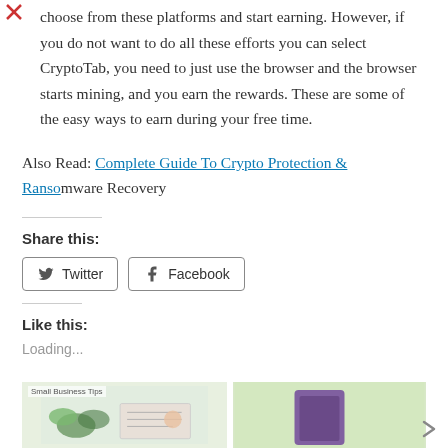choose from these platforms and start earning. However, if you do not want to do all these efforts you can select CryptoTab, you need to just use the browser and the browser starts mining, and you earn the rewards. These are some of the easy ways to earn during your free time.
Also Read: Complete Guide To Crypto Protection & Ransomware Recovery
Share this:
Twitter | Facebook
Like this:
Loading...
[Figure (photo): Two thumbnail images at the bottom of the page — left shows a Small Business Tips image with plant leaves and a notebook, right shows a purple/mauve colored item on a light green background]